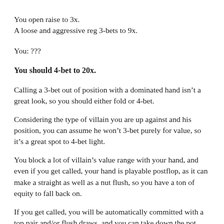You open raise to 3x.
A loose and aggressive reg 3-bets to 9x.
You: ???
You should 4-bet to 20x.
Calling a 3-bet out of position with a dominated hand isn't a great look, so you should either fold or 4-bet.
Considering the type of villain you are up against and his position, you can assume he won't 3-bet purely for value, so it's a great spot to 4-bet light.
You block a lot of villain's value range with your hand, and even if you get called, your hand is playable postflop, as it can make a straight as well as a nut flush, so you have a ton of equity to fall back on.
If you get called, you will be automatically committed with a top pair and/or flush draws, and you can take down the pot with a